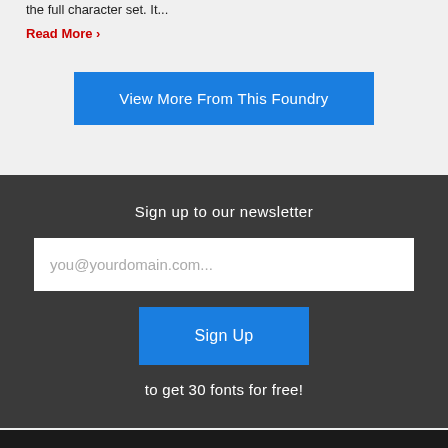the full character set. It...
Read More ›
View More From This Foundry
Sign up to our newsletter
you@yourdomain.com...
Sign Up
to get 30 fonts for free!